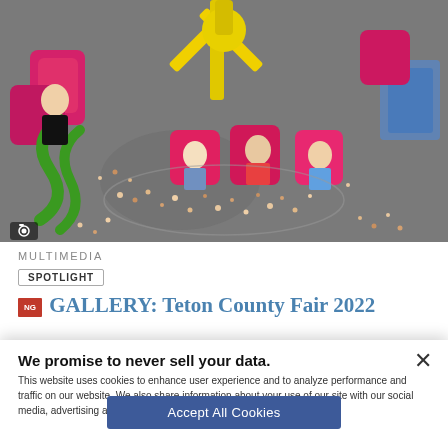[Figure (photo): Aerial/overhead view of a carnival ride at Teton County Fair 2022. Children are seated in colorful pink and yellow ride seats. The ground below shows many fair-goers as small figures. A yellow mechanical arm structure is visible at top center. A camera icon overlay appears at bottom-left of the photo.]
MULTIMEDIA
SPOTLIGHT
GALLERY: Teton County Fair 2022
We promise to never sell your data.
This website uses cookies to enhance user experience and to analyze performance and traffic on our website. We also share information about your use of our site with our social media, advertising and analytics partners. PRIVACY
Accept All Cookies